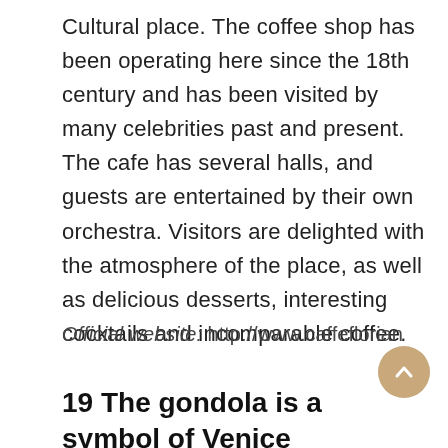Cultural place. The coffee shop has been operating here since the 18th century and has been visited by many celebrities past and present. The cafe has several halls, and guests are entertained by their own orchestra. Visitors are delighted with the atmosphere of the place, as well as delicious desserts, interesting cocktails and incomparable coffee.
Official website: http://www.caffeflorian
19 The gondola is a symbol of Venice